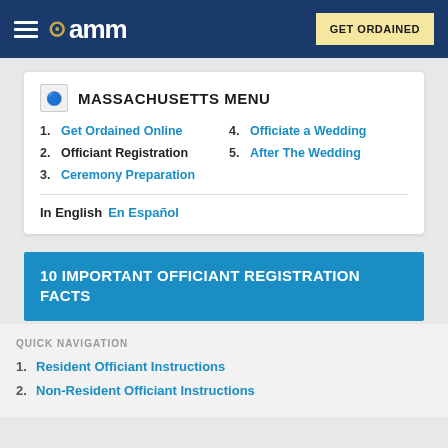AMM - GET ORDAINED
MASSACHUSETTS MENU
1. Get Ordained Online
2. Officiant Registration
3. Ceremony Preparation
4. Officiate a Wedding
5. After The Wedding
In English  En Español
10 IMPORTANT OFFICIANT REGISTRATION FACTS
QUICK NAVIGATION
1. Resident Officiant Instructions
2. Non-Resident Officiant Instructions